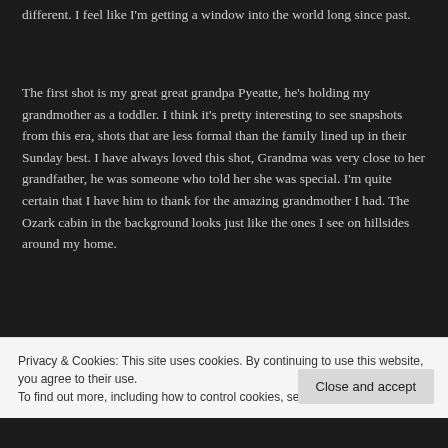different. I feel like I'm getting a window into the world long since past.
The first shot is my great great grandpa Pyeatte, he's holding my grandmother as a toddler. I think it's pretty interesting to see snapshots from this era, shots that are less formal than the family lined up in their Sunday best. I have always loved this shot, Grandma was very close to her grandfather, he was someone who told her she was special. I'm quite certain that I have him to thank for the amazing grandmother I had. The Ozark cabin in the background looks just like the ones I see on hillsides around my home.
[Figure (photo): A sepia-toned vintage photograph partially visible at the bottom of the page, showing an old family photo.]
Privacy & Cookies: This site uses cookies. By continuing to use this website, you agree to their use.
To find out more, including how to control cookies, see here: Cookie Policy